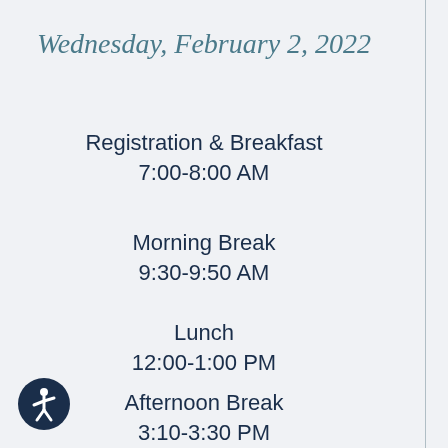Wednesday, February 2, 2022
Registration & Breakfast
7:00-8:00 AM
Morning Break
9:30-9:50 AM
Lunch
12:00-1:00 PM
Afternoon Break
3:10-3:30 PM
[Figure (logo): Accessibility icon — dark circle with white person/wheelchair symbol]